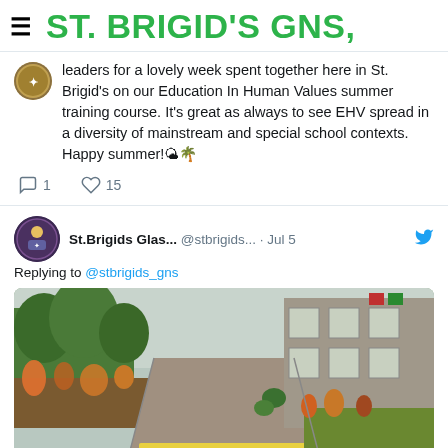ST. BRIGID'S GNS,
leaders for a lovely week spent together here in St. Brigid's on our Education In Human Values summer training course. It's great as always to see EHV spread in a diversity of mainstream and special school contexts. Happy summer!🌤🌴
1   15
St.Brigids Glas... @stbrigids... · Jul 5
Replying to @stbrigids_gns
[Figure (photo): School pathway with garden beds on both sides, yellow pedestrian crossing markings on the path, school building visible on the right with red and green flags/planters]